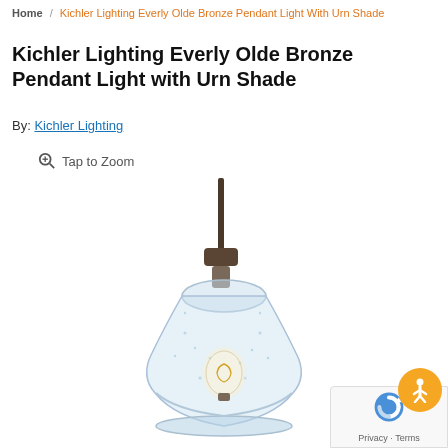Home / Kichler Lighting Everly Olde Bronze Pendant Light With Urn Shade
Kichler Lighting Everly Olde Bronze Pendant Light with Urn Shade
By: Kichler Lighting
Tap to Zoom
[Figure (photo): Kichler Lighting Everly Olde Bronze pendant light with a clear seeded glass urn-shaped shade and visible Edison bulb, hanging from a dark bronze rod.]